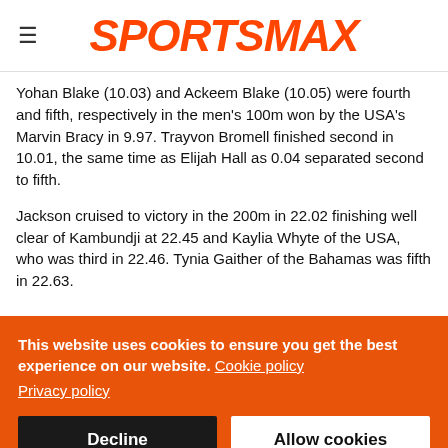SPORTSMAX
Yohan Blake (10.03) and Ackeem Blake (10.05) were fourth and fifth, respectively in the men's 100m won by the USA's Marvin Bracy in 9.97. Trayvon Bromell finished second in 10.01, the same time as Elijah Hall as 0.04 separated second to fifth.
Jackson cruised to victory in the 200m in 22.02 finishing well clear of Kambundji at 22.45 and Kaylia Whyte of the USA, who was third in 22.46. Tynia Gaither of the Bahamas was fifth in 22.63.
This website uses cookies to ensure you get the best experience on our website. Cookie policy Privacy policy
Decline
Allow cookies